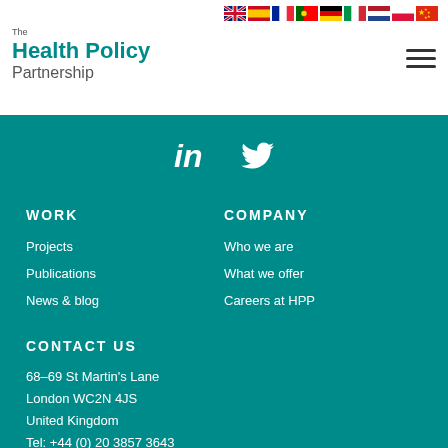[Figure (logo): The Health Policy Partnership logo with flag icons and hamburger menu]
[Figure (infographic): LinkedIn and Twitter social media icons in white on teal background]
WORK
COMPANY
Projects
Who we are
Publications
What we offer
News & blog
Careers at HPP
CONTACT US
68–69 St Martin's Lane
London WC2N 4JS
United Kingdom
Tel: +44 (0) 20 3857 3643